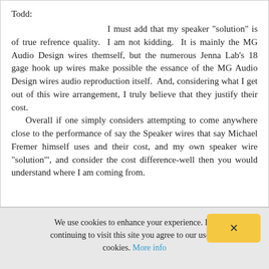Todd:
I must add that my speaker "solution" is of true refrence quality.  I am not kidding.  It is mainly the MG Audio Design wires themself, but the numerous Jenna Lab's 18 gage hook up wires make possible the essance of the MG Audio Design wires audio reproduction itself.  And, considering what I get out of this wire arrangement, I truly believe that they justify their cost.   Overall if one simply considers attempting to come anywhere close to the performance of say the Speaker wires that say Michael Fremer himself uses and their cost, and my own speaker wire "solution"', and consider the cost difference-well then you would understand where I am coming from.
We use cookies to enhance your experience. By continuing to visit this site you agree to our use of cookies. More info